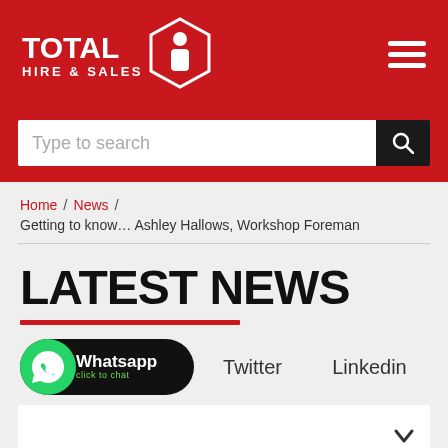[Figure (logo): Total Hire & Sales logo — white text with worker icon on red background header]
Type to search
Home / News /
Getting to know… Ashley Hallows, Workshop Foreman
LATEST NEWS
[Figure (other): WhatsApp click to chat button]
Twitter
Linkedin